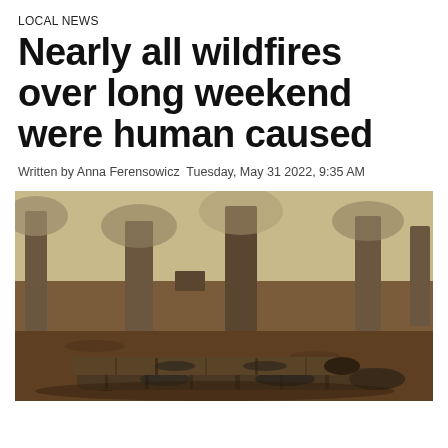LOCAL NEWS
Nearly all wildfires over long weekend were human caused
Written by Anna Ferensowicz Tuesday, May 31 2022, 9:35 AM
[Figure (photo): Photo of charred logs lying on dry dirt ground in a forest with tree trunks visible in the background]